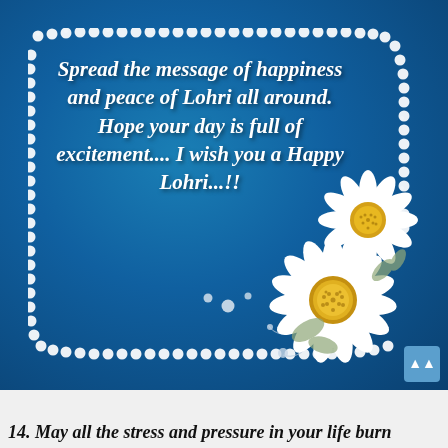[Figure (illustration): A Lohri greeting card with a blue radial gradient background, a pearl/bead decorative border frame, white italic bold text reading 'Spread the message of happiness and peace of Lohri all around. Hope your day is full of excitement.... I wish you a Happy Lohri...!!', decorative white daisy flowers with yellow centers in the bottom-right corner, and swirling silver/grey floral vine decorations. A blue back-to-top button (▲) is in the lower right corner of the image.]
14. May all the stress and pressure in your life burn